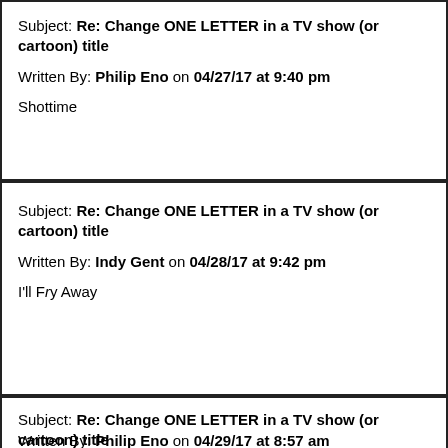Subject: Re: Change ONE LETTER in a TV show (or cartoon) title
Written By: Philip Eno on 04/27/17 at 9:40 pm
Shottime
Subject: Re: Change ONE LETTER in a TV show (or cartoon) title
Written By: Indy Gent on 04/28/17 at 9:42 pm
I'll Fry Away
Subject: Re: Change ONE LETTER in a TV show (or cartoon) title
Written By: Philip Eno on 04/29/17 at 8:57 am